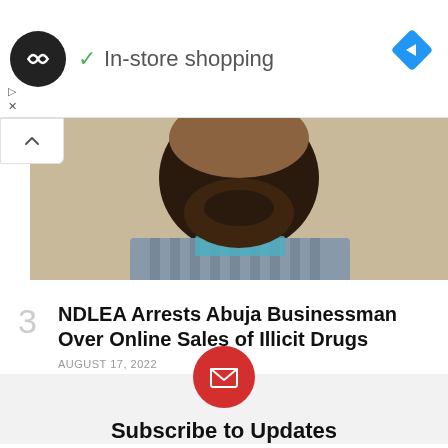[Figure (screenshot): Advertisement banner with circular logo icon, checkmark and 'In-store shopping' text, and a blue diamond navigation icon on the right]
[Figure (photo): Close-up photo of a man's face and upper body, cropped to show chin/beard and part of a checkered shirt]
3
NDLEA Arrests Abuja Businessman Over Online Sales of Illicit Drugs
AUGUST 17, 2022
[Figure (logo): Red circle with white envelope/mail icon]
Subscribe to Updates